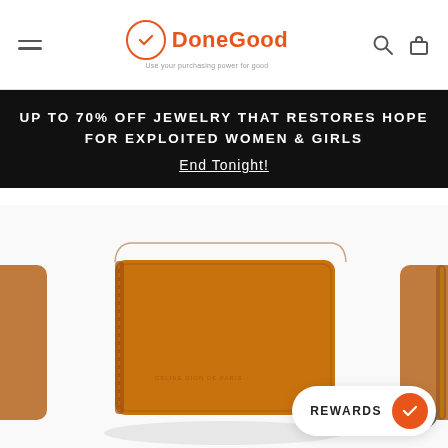DoneGood — Use your purchasing power for good
UP TO 70% OFF JEWELRY THAT RESTORES HOPE FOR EXPLOITED WOMEN & GIRLS End Tonight!
[Figure (photo): Brown leather zip wallet with ring pull zipper, shown in center with partial side views of similar wallets on left and right edges, on white background]
REWARDS